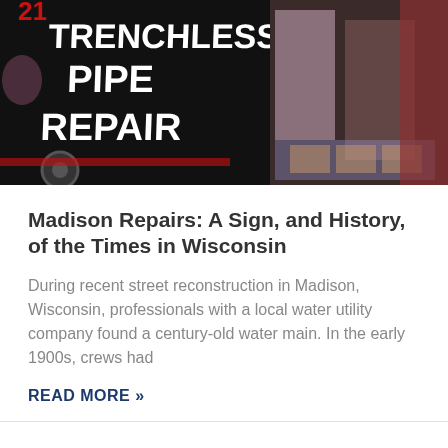[Figure (photo): A black trailer/truck with large white text reading 'TRENCHLESS PIPE REPAIR' on the side, displayed at what appears to be a trade show or exhibition with displays visible on the right side.]
Madison Repairs: A Sign, and History, of the Times in Wisconsin
During recent street reconstruction in Madison, Wisconsin, professionals with a local water utility company found a century-old water main. In the early 1900s, crews had
READ MORE »